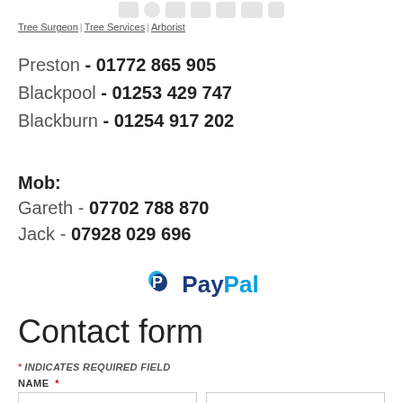[Figure (illustration): Social media icons row at top of page (partially visible)]
Tree Surgeon | Tree Services | Arborist
Preston - 01772 865 905
Blackpool - 01253 429 747
Blackburn - 01254 917 202
Mob:
Gareth - 07702 788 870
Jack - 07928 029 696
[Figure (logo): PayPal logo]
Contact form
* INDICATES REQUIRED FIELD
NAME *